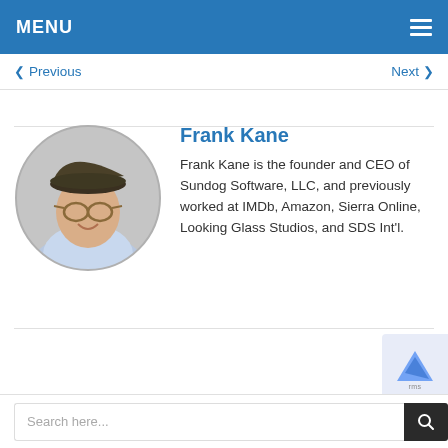MENU
◀ Previous    Next ▶
[Figure (photo): Circular profile photo of Frank Kane, a man wearing a dark flat cap and glasses, in a light blue shirt, smiling.]
Frank Kane
Frank Kane is the founder and CEO of Sundog Software, LLC, and previously worked at IMDb, Amazon, Sierra Online, Looking Glass Studios, and SDS Int'l.
Search here...